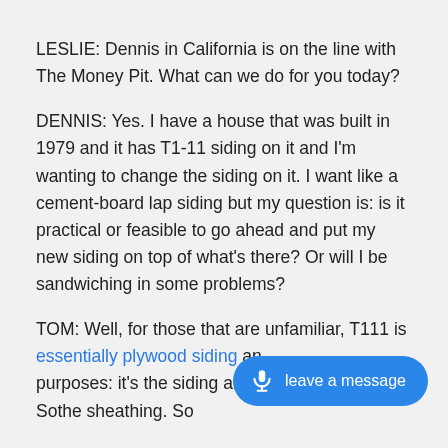LESLIE: Dennis in California is on the line with The Money Pit. What can we do for you today?
DENNIS: Yes. I have a house that was built in 1979 and it has T1-11 siding on it and I'm wanting to change the siding on it. I want like a cement-board lap siding but my question is: is it practical or feasible to go ahead and put my new siding on top of what's there? Or will I be sandwiching in some problems?
TOM: Well, for those that are unfamiliar, T111 is essentially plywood siding and serves a dual purposes: it's the siding and it's the sheathing. So